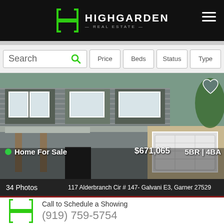[Figure (logo): Highgarden Real Estate logo with stylized H in green on black header bar]
[Figure (screenshot): Search bar with Price, Beds, Status, Type filter buttons]
[Figure (photo): Two-story craftsman home for sale photo with green dot badge, price $671,065, 5BR | 4BA]
Home For Sale
$671,065  5BR | 4BA
34 Photos    117 Alderbranch Cir # 147- Galvani E3, Garner 27529
[Figure (photo): Partial photo of second home listing]
Call to Schedule a Showing
(919) 759-5754